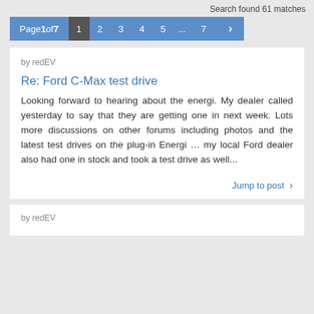Search found 61 matches
Page 1 of 7  1  2  3  4  5  ...  7  >
by redEV
Re: Ford C-Max test drive
Looking forward to hearing about the energi. My dealer called yesterday to say that they are getting one in next week. Lots more discussions on other forums including photos and the latest test drives on the plug-in Energi … my local Ford dealer also had one in stock and took a test drive as well...
Jump to post →
by redEV